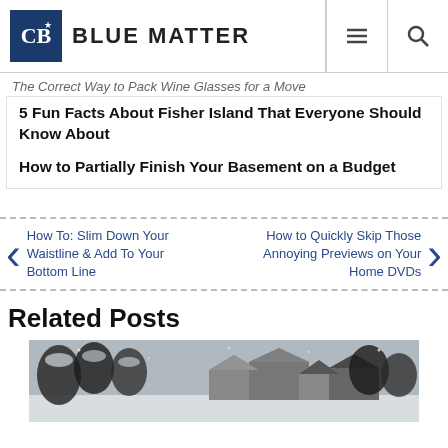BLUE MATTER
The Correct Way to Pack Wine Glasses for a Move
5 Fun Facts About Fisher Island That Everyone Should Know About
How to Partially Finish Your Basement on a Budget
How To: Slim Down Your Waistline & Add To Your Bottom Line
How to Quickly Skip Those Annoying Previews on Your Home DVDs
Related Posts
[Figure (photo): Snowy winter scene with trees and buildings covered in snow, black and white or desaturated]